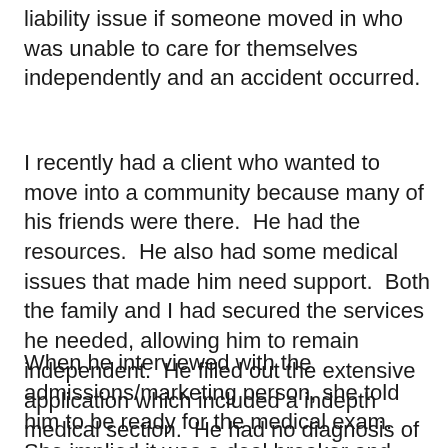liability issue if someone moved in who was unable to care for themselves independently and an accident occurred.
I recently had a client who wanted to move into a community because many of his friends were there.  He had the resources.  He also had some medical issues that made him need support.  Both the family and I had secured the services he needed, allowing him to remain independent.  He filled out the extensive application which included a indepth medical section.  He had no diagnosis of dementia.
When he interviewed with the admissions/marketing person, she told him to be ready for the medical exam.  She implied it was a deal breaker and impressed on him he needed to be able to recite his